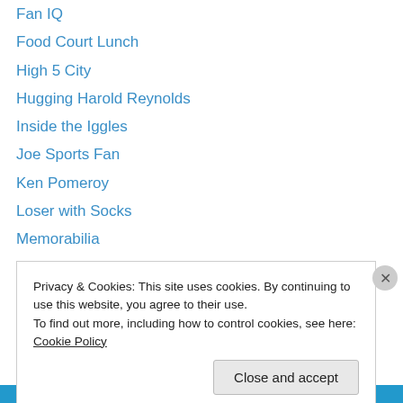Fan IQ
Food Court Lunch
High 5 City
Hugging Harold Reynolds
Inside the Iggles
Joe Sports Fan
Ken Pomeroy
Loser with Socks
Memorabilia
Nation of Islam Sportsblog
Our Book of Scrap
Play United
Pro Football Talk
Real Time RPI
Privacy & Cookies: This site uses cookies. By continuing to use this website, you agree to their use.
To find out more, including how to control cookies, see here: Cookie Policy
Close and accept